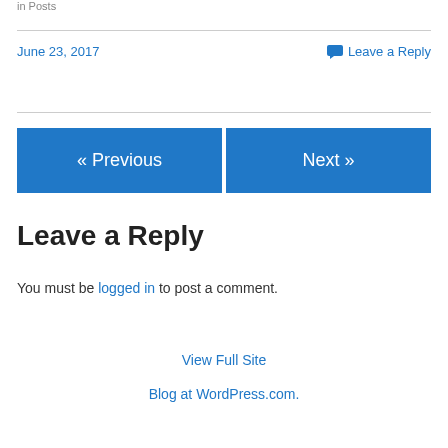in  Posts
June 23, 2017
💬 Leave a Reply
« Previous
Next »
Leave a Reply
You must be logged in to post a comment.
View Full Site
Blog at WordPress.com.